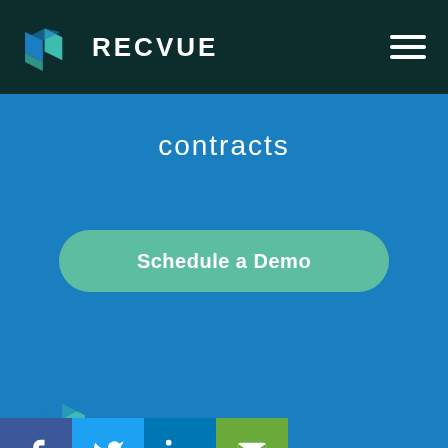RECVUE
contracts
Schedule a Demo
[Figure (logo): RecVue logo with teal/blue layered shape icon and RECVUE text in white on dark footer]
Social icons: Facebook, Twitter, LinkedIn, Email